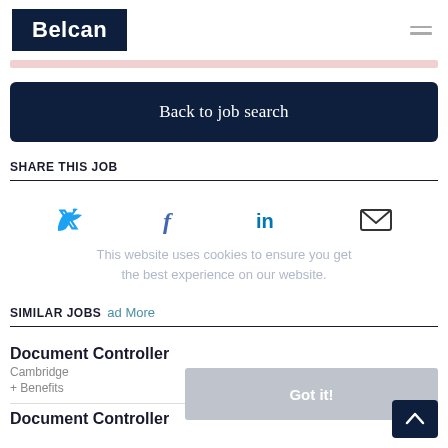[Figure (logo): Belcan company logo — white bold text 'Belcan' on dark navy background rectangle]
Back to job search
SHARE THIS JOB
[Figure (infographic): Social share icons: Twitter bird (blue), Facebook f (blue), LinkedIn in (blue), email envelope (dark outline)]
This website uses cookies to ensure you get the best experience on our website.
SIMILAR JOBS
Read More
Document Controller
Cambridge
+ Benefits
Got it!
Document Controller